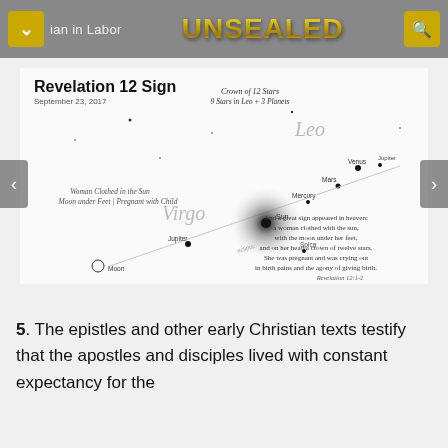UNSEALED — Ian in Labor
[Figure (illustration): Star chart labeled 'Revelation 12 Sign' dated September 23, 2017, showing constellations Virgo and Leo with labeled celestial bodies: Sun, Moon, Jupiter, Spica, Mercury, Mars, Venus, Jupiter. Text annotations: 'Crown of 12 Stars / 9 Stars in Leo + 3 Planets', 'Woman Clothed in the Sun / Moon under Feet | Pregnant with Child', and scripture quote from Revelation 12:1-2.]
5. The epistles and other early Christian texts testify that the apostles and disciples lived with constant expectancy for the